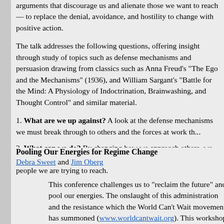arguments that discourage us and alienate those we want to reach — to replace the denial, avoidance, and hostility to change with positive action.
The talk addresses the following questions, offering insight through study of topics such as defense mechanisms and persuasion drawing from classics such as Anna Freud's "The Ego and the Mechanisms" (1936), and William Sargant's "Battle for the Mind: A Physiology of Indoctrination, Brainwashing, and Thought Control" and similar material.
1. What are we up against? A look at the defense mechanisms we must break through to others and the forces at work that...
2. What can we do? By changing how we approach others, we have a better chance of getting our message across with the people we are trying to reach.
Pooling Our Energies for Regime Change
Debra Sweet and Jim Oberg
This conference challenges us to "reclaim the future" and pool our energies. The onslaught of this administration and the resistance which the World Can't Wait movement has summoned (www.worldcantwait.org). This workshop is your...